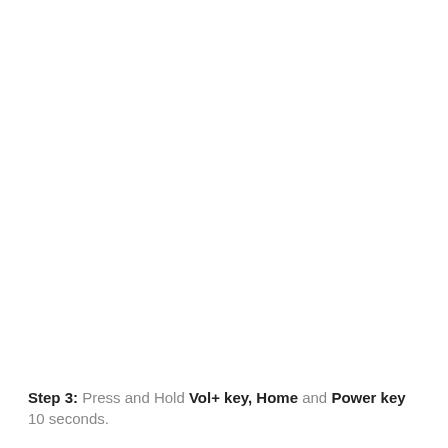Step 3: Press and Hold Vol+ key, Home and Power key 10 seconds.